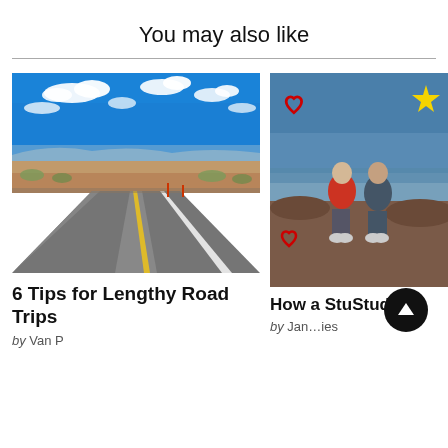You may also like
[Figure (photo): Open highway road stretching into desert landscape under blue sky with clouds]
6 Tips for Lengthy Road Trips
by Van P
[Figure (photo): Two people sitting by a lake shore with red heart and yellow star sticker overlays]
How a Stu... Stud...ts
by Jan... ...ies